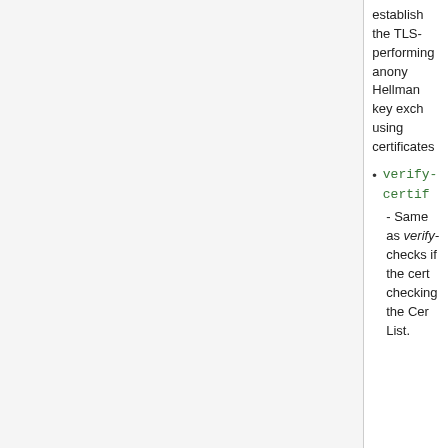| Parameter | Description |
| --- | --- |
|  | establish the TLS performing anony Hellman key excl using certificates
• verify-certif
- Same as verify- checks if the cert checking the Cer List. |
| tls-certificate
(none | name; Default: none) | Access Point always when configured whe to verify-certificate, o verify-certificate. Clie certificate only if Acc configured with tls-m certificate. In this cas valid certificate that i known to the Access property only has eff is not set to no-certifi methods contains e |